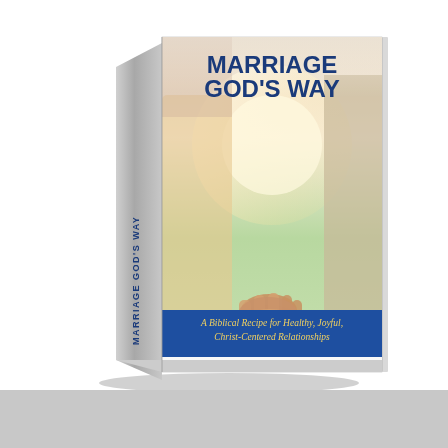[Figure (illustration): 3D book cover illustration of 'Marriage God's Way: A Biblical Recipe for Healthy, Joyful, Christ-Centered Relationships' by Scott LaPierre. The book has a photo of a couple holding hands on the cover, a blue banner with subtitle text, and the spine shows the title text vertically. The book is displayed at an angle showing both the spine and front cover.]